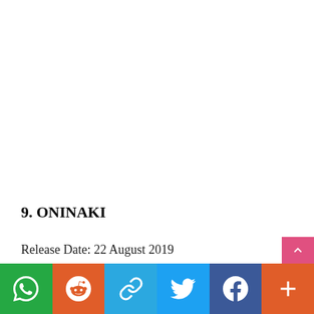9. ONINAKI
Release Date: 22 August 2019
[Figure (infographic): Social media share bar at the bottom with WhatsApp (green), Reddit (orange), Link/Copy (blue), Twitter (blue), Facebook (dark blue), and More (orange-red) buttons, plus a pink scroll-to-top button.]